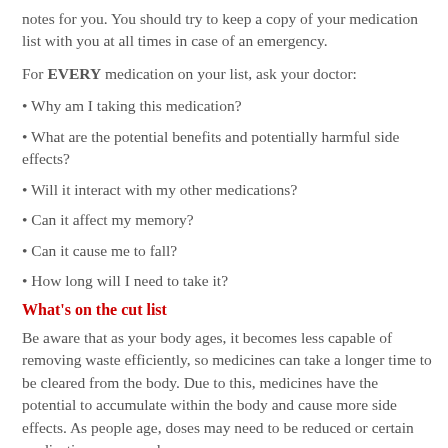notes for you. You should try to keep a copy of your medication list with you at all times in case of an emergency.
For EVERY medication on your list, ask your doctor:
• Why am I taking this medication?
• What are the potential benefits and potentially harmful side effects?
• Will it interact with my other medications?
• Can it affect my memory?
• Can it cause me to fall?
• How long will I need to take it?
What's on the cut list
Be aware that as your body ages, it becomes less capable of removing waste efficiently, so medicines can take a longer time to be cleared from the body. Due to this, medicines have the potential to accumulate within the body and cause more side effects. As people age, doses may need to be reduced or certain medications may need